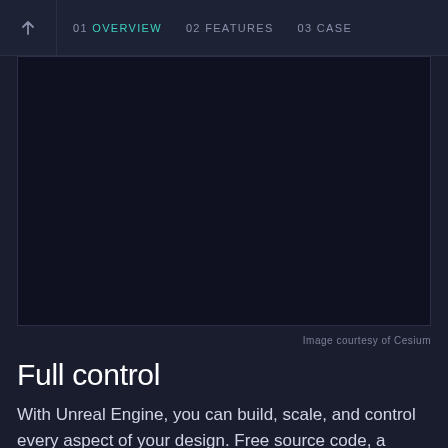↑  01 OVERVIEW  02 FEATURES  03 CASE
[Figure (screenshot): Dark viewport area showing a near-black scene, appearing to be a 3D environment or map viewer with very dark content, bordered by a thin dark outline.]
Image courtesy of Cesium
Full control
With Unreal Engine, you can build, scale, and control every aspect of your design. Free source code, a robust C++ API, and node-based scripting for non-programmers